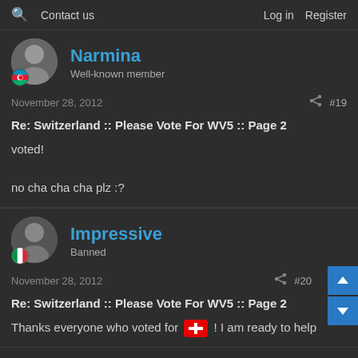🔍 Contact us | Log in  Register
Narmina
Well-known member
November 28, 2012  #19
Re: Switzerland :: Please Vote For WV5 :: Page 2
voted!

no cha cha cha plz :?
Impressive
Banned
November 28, 2012  #20
Re: Switzerland :: Please Vote For WV5 :: Page 2
Thanks everyone who voted for 🇨🇭! I am ready to help